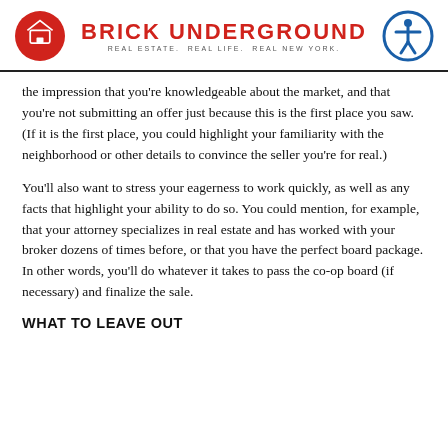BRICK UNDERGROUND | REAL ESTATE. REAL LIFE. REAL NEW YORK.
the impression that you're knowledgeable about the market, and that you're not submitting an offer just because this is the first place you saw. (If it is the first place, you could highlight your familiarity with the neighborhood or other details to convince the seller you're for real.)
You'll also want to stress your eagerness to work quickly, as well as any facts that highlight your ability to do so. You could mention, for example, that your attorney specializes in real estate and has worked with your broker dozens of times before, or that you have the perfect board package. In other words, you'll do whatever it takes to pass the co-op board (if necessary) and finalize the sale.
WHAT TO LEAVE OUT